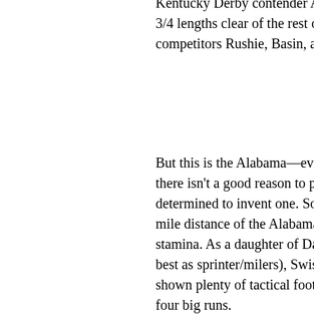Kentucky Derby contender Art Collector. Take note 3/4 lengths clear of the rest of the field, which inclu competitors Rushie, Basin, and Shivaree.
But this is the Alabama—evidently my handicappin there isn't a good reason to play against Swiss Sk determined to invent one. So let me begin by sayi mile distance of the Alabama will stretch the limits stamina. As a daughter of Daredevil out of a mare best as sprinter/milers), Swiss Skydiver is bred fo shown plenty of tactical foot in her races, setting o four big runs.
Swiss Skydiver can clearly handle short two-turn m 1/16 miles, but she was growing a bit leg-weary at Blue Grass, and stretching out over 1 1/4 miles wi stamina shortcomings if they do indeed exist.